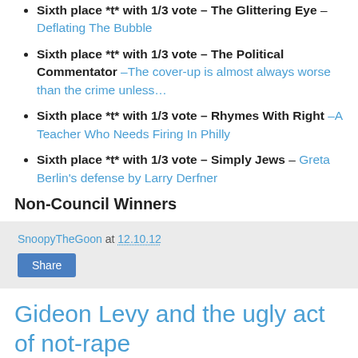Sixth place *t* with 1/3 vote – The Glittering Eye – Deflating The Bubble
Sixth place *t* with 1/3 vote – The Political Commentator –The cover-up is almost always worse than the crime unless…
Sixth place *t* with 1/3 vote – Rhymes With Right –A Teacher Who Needs Firing In Philly
Sixth place *t* with 1/3 vote – Simply Jews – Greta Berlin's defense by Larry Derfner
Non-Council Winners
SnoopyTheGoon at 12.10.12
Share
Gideon Levy and the ugly act of not-rape
There are only a few barbaric acts perpetrated by human